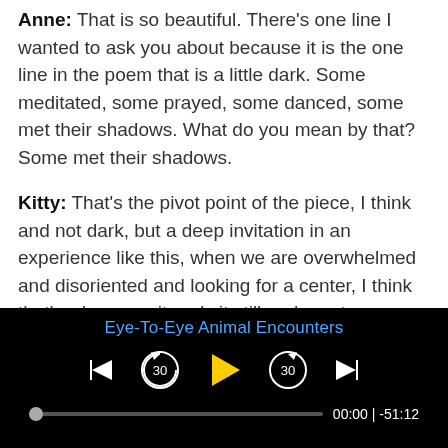Anne: That is so beautiful. There's one line I wanted to ask you about because it is the one line in the poem that is a little dark. Some meditated, some prayed, some danced, some met their shadows. What do you mean by that? Some met their shadows.
Kitty: That's the pivot point of the piece, I think and not dark, but a deep invitation in an experience like this, when we are overwhelmed and disoriented and looking for a center, I think that's when we sit and sit still and meet our shadows. Meet those things that take us to
[Figure (screenshot): Audio/podcast player bar with title 'Eye-To-Eye Animal Encounters', playback controls (skip to start, rewind 30s, play, forward 30s, skip to end), progress bar at 0:00 with remaining time -51:12]